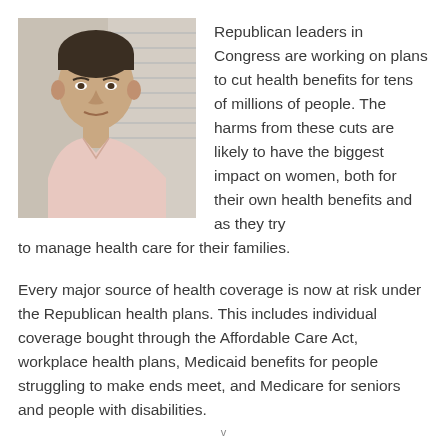[Figure (photo): Headshot photo of a middle-aged man with dark hair wearing a light pink button-up shirt, seated indoors with blinds visible in the background.]
Republican leaders in Congress are working on plans to cut health benefits for tens of millions of people. The harms from these cuts are likely to have the biggest impact on women, both for their own health benefits and as they try to manage health care for their families.
Every major source of health coverage is now at risk under the Republican health plans. This includes individual coverage bought through the Affordable Care Act, workplace health plans, Medicaid benefits for people struggling to make ends meet, and Medicare for seniors and people with disabilities.
v